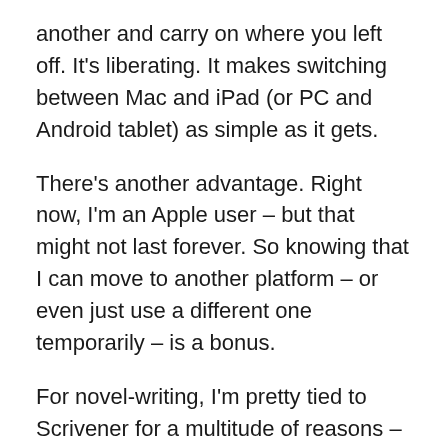another and carry on where you left off. It's liberating. It makes switching between Mac and iPad (or PC and Android tablet) as simple as it gets.
There's another advantage. Right now, I'm an Apple user – but that might not last forever. So knowing that I can move to another platform – or even just use a different one temporarily – is a bonus.
For novel-writing, I'm pretty tied to Scrivener for a multitude of reasons – and the team behind Scrivener is thankfully working on an iPad version, though that's some way off. Scrivener for Mac and iPad, with easy file synchronisation – perhaps via iCloud – would be ideal. But for other projects, I'm very tempted by Evernote's workflow.